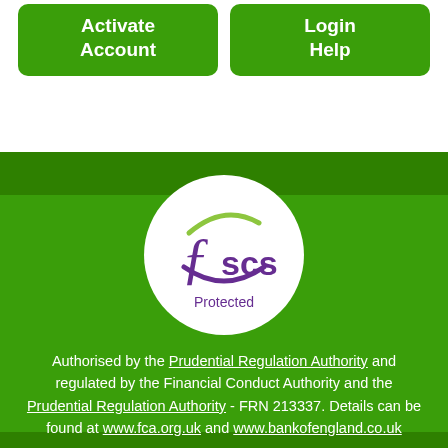[Figure (other): Two green buttons: 'Activate Account' and 'Login Help']
[Figure (logo): FSCS Protected circular logo with purple/green swoosh and 'f scs' text, labeled 'Protected' below]
Authorised by the Prudential Regulation Authority and regulated by the Financial Conduct Authority and the Prudential Regulation Authority - FRN 213337. Details can be found at www.fca.org.uk and www.bankofengland.co.uk